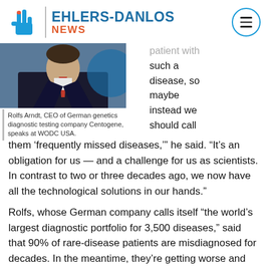EHLERS-DANLOS NEWS
[Figure (photo): Man in suit with red tie speaking at a podium, with a blue circular logo behind him]
Rolfs Arndt, CEO of German genetics diagnostic testing company Centogene, speaks at WODC USA.
patient with such a disease, so maybe instead we should call them ‘frequently missed diseases,’” he said. “It’s an obligation for us — and a challenge for us as scientists. In contrast to two or three decades ago, we now have all the technological solutions in our hands.”
Rolfs, whose German company calls itself “the world’s largest diagnostic portfolio for 3,500 diseases,” said that 90% of rare-disease patients are misdiagnosed for decades. In the meantime, they’re getting worse and often reach a stage of